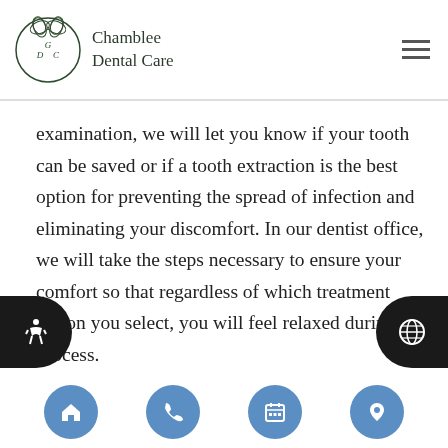Chamblee Dental Care
examination, we will let you know if your tooth can be saved or if a tooth extraction is the best option for preventing the spread of infection and eliminating your discomfort. In our dentist office, we will take the steps necessary to ensure your comfort so that regardless of which treatment option you select, you will feel relaxed during the process.
Request An Appointment
First & Last Name (Required)